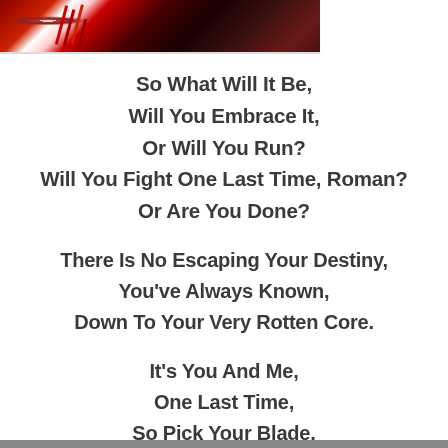[Figure (photo): A dark, horror-themed image showing a bloody or frightening scene with red tones, partial face/figure visible, dark background.]
So What Will It Be,
Will You Embrace It,
Or Will You Run?
Will You Fight One Last Time, Roman?
Or Are You Done?

There Is No Escaping Your Destiny,
You've Always Known,
Down To Your Very Rotten Core.

It's You And Me,
One Last Time,
So Pick Your Blade,
It's T-Time.